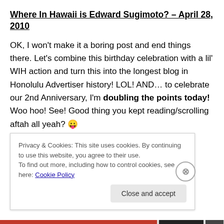Where In Hawaii is Edward Sugimoto? – April 28, 2010
OK, I won't make it a boring post and end things there. Let's combine this birthday celebration with a lil' WIH action and turn this into the longest blog in Honolulu Advertiser history! LOL! AND… to celebrate our 2nd Anniversary, I'm doubling the points today! Woo hoo! See! Good thing you kept reading/scrolling aftah all yeah? 😛
Points for
Privacy & Cookies: This site uses cookies. By continuing to use this website, you agree to their use.
To find out more, including how to control cookies, see here: Cookie Policy
Close and accept